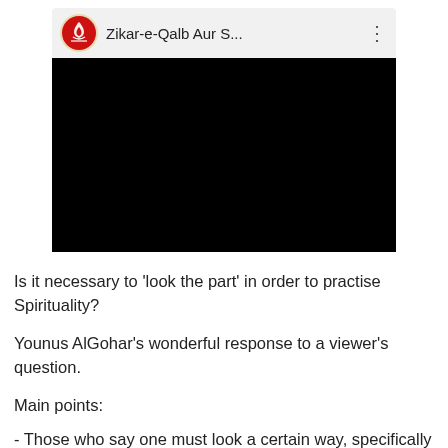[Figure (screenshot): A YouTube video thumbnail/embed showing a video titled 'Zikar-e-Qalb Aur S...' with a red and gold circular logo on the left, the video title in the center, and a three-dot menu icon on the right. The video content area is a black rectangle.]
Is it necessary to 'look the part' in order to practise Spirituality?
Younus AlGohar's wonderful response to a viewer's question.
Main points:
- Those who say one must look a certain way, specifically to appear saintly, in order to be on the Spiritual path and that